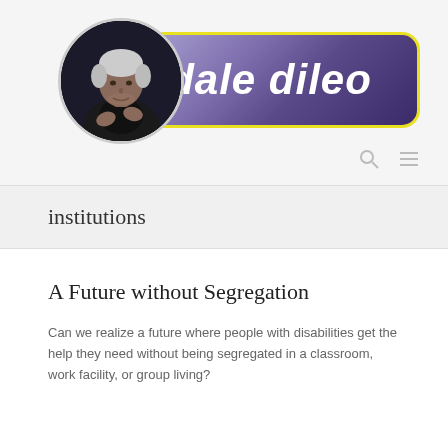[Figure (logo): Dale DiLeo website header with circular profile photo of a man with white hair speaking, overlapping a purple gradient pill-shaped banner with yellow border reading 'dale dileo' in white italic script]
institutions
A Future without Segregation
Can we realize a future where people with disabilities get the help they need without being segregated in a classroom, work facility, or group living?